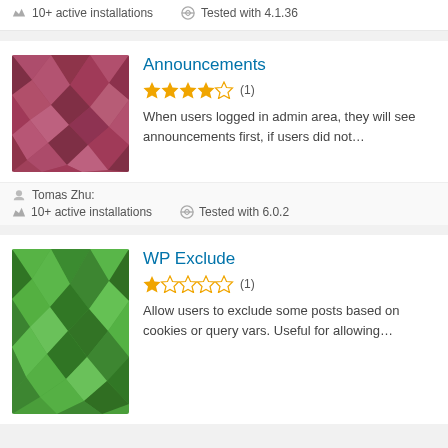10+ active installations    Tested with 4.1.36
[Figure (illustration): Pink/mauve low-poly geometric pattern thumbnail for Announcements plugin]
Announcements
★★★★☆ (1)
When users logged in admin area, they will see announcements first, if users did not...
Tomas Zhu:
10+ active installations    Tested with 6.0.2
[Figure (illustration): Green low-poly geometric pattern thumbnail for WP Exclude plugin]
WP Exclude
★☆☆☆☆ (1)
Allow users to exclude some posts based on cookies or query vars. Useful for allowing...